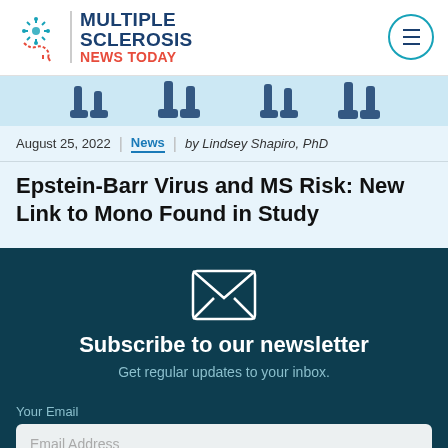Multiple Sclerosis News Today
[Figure (illustration): Decorative illustration showing legs/feet of multiple people walking, partial crop at top of article]
August 25, 2022 | News | by Lindsey Shapiro, PhD
Epstein-Barr Virus and MS Risk: New Link to Mono Found in Study
Subscribe to our newsletter
Get regular updates to your inbox.
Your Email
Email Address